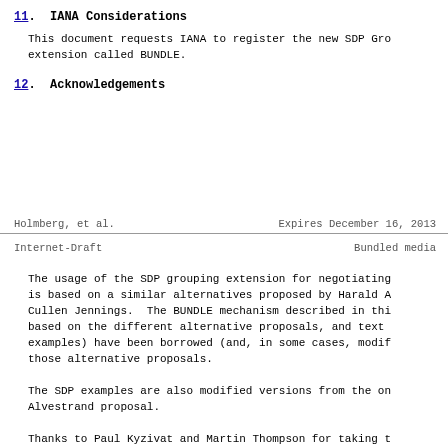11.  IANA Considerations
This document requests IANA to register the new SDP Grouping extension called BUNDLE.
12.  Acknowledgements
Holmberg, et al.         Expires December 16, 2013
Internet-Draft                    Bundled media
The usage of the SDP grouping extension for negotiating is based on a similar alternatives proposed by Harald A Cullen Jennings.  The BUNDLE mechanism described in thi based on the different alternative proposals, and text examples) have been borrowed (and, in some cases, modif those alternative proposals.
The SDP examples are also modified versions from the on Alvestrand proposal.
Thanks to Paul Kyzivat and Martin Thompson for taking t read the text along the way, and providing useful feedb
13.  Change Log